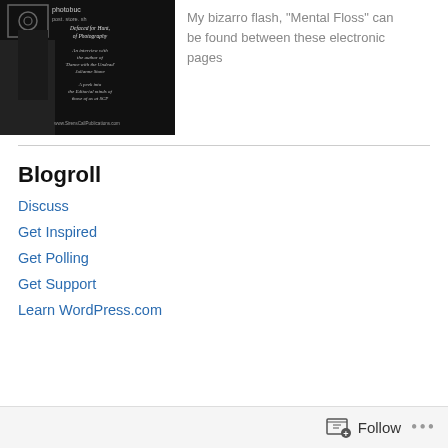[Figure (photo): Dark magazine cover with photobucket watermark and text overlay about photography, interview with author of 'Dance with the Undead' Julianne Stone, and editorial minds at SCP. URL www.SirensCallPublications.com at bottom.]
My bizarro flash, "Mental Floss" can be found between these electronic pages
Blogroll
Discuss
Get Inspired
Get Polling
Get Support
Learn WordPress.com
Follow